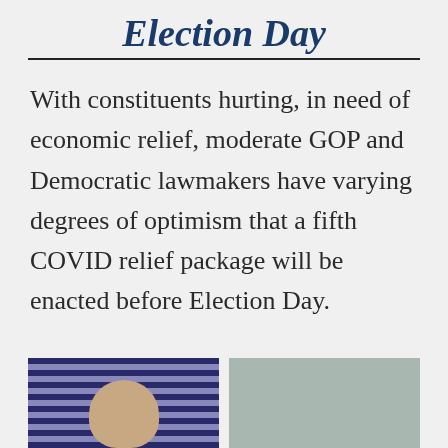Election Day
With constituents hurting, in need of economic relief, moderate GOP and Democratic lawmakers have varying degrees of optimism that a fifth COVID relief package will be enacted before Election Day.
[Figure (photo): Two photos side by side at bottom of page — left photo shows a person with striped blue background, right photo shows a person with gray/teal background]